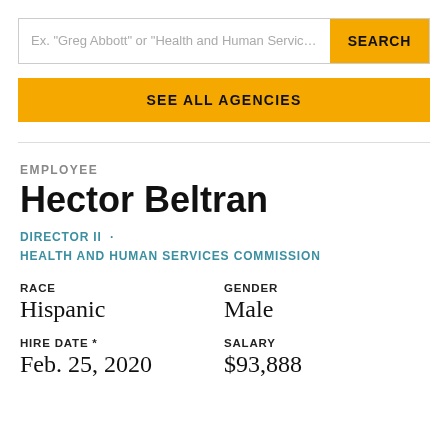[Figure (screenshot): Search bar with placeholder text 'Ex. "Greg Abbott" or "Health and Human Services Co' and a golden SEARCH button]
SEE ALL AGENCIES
EMPLOYEE
Hector Beltran
DIRECTOR II · HEALTH AND HUMAN SERVICES COMMISSION
RACE
Hispanic
GENDER
Male
HIRE DATE *
Feb. 25, 2020
SALARY
$93,888